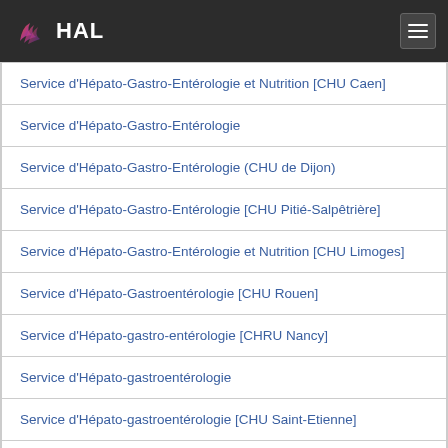HAL
Service d'Hépato-Gastro-Entérologie et Nutrition [CHU Caen]
Service d'Hépato-Gastro-Entérologie
Service d'Hépato-Gastro-Entérologie (CHU de Dijon)
Service d'Hépato-Gastro-Entérologie [CHU Pitié-Salpêtrière]
Service d'Hépato-Gastro-Entérologie et Nutrition [CHU Limoges]
Service d'Hépato-Gastroentérologie [CHU Rouen]
Service d'Hépato-gastro-entérologie [CHRU Nancy]
Service d'Hépato-gastroentérologie
Service d'Hépato-gastroentérologie [CHU Saint-Etienne]
Service d'Hépatogastroentérologie